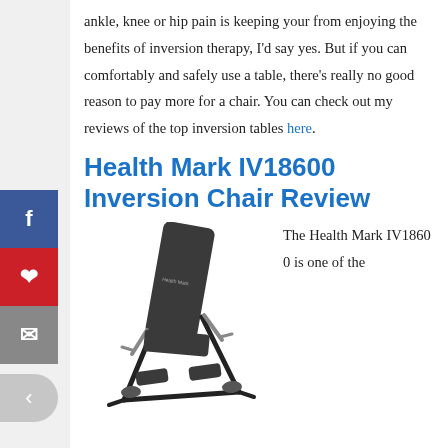ankle, knee or hip pain is keeping your from enjoying the benefits of inversion therapy, I'd say yes. But if you can comfortably and safely use a table, there's really no good reason to pay more for a chair. You can check out my reviews of the top inversion tables here.
Health Mark IV18600 Inversion Chair Review
[Figure (photo): Photo of the Health Mark IV18600 Inversion Chair — a reclined exercise/inversion chair with dark padded seat back and metal frame]
The Health Mark IV18600 is one of the